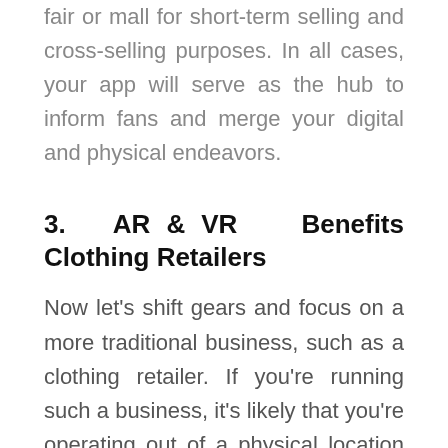fair or mall for short-term selling and cross-selling purposes. In all cases, your app will serve as the hub to inform fans and merge your digital and physical endeavors.
3. AR & VR Benefits Clothing Retailers
Now let’s shift gears and focus on a more traditional business, such as a clothing retailer. If you’re running such a business, it’s likely that you’re operating out of a physical location such as a store in a mall or shopping street. And most, if not all of